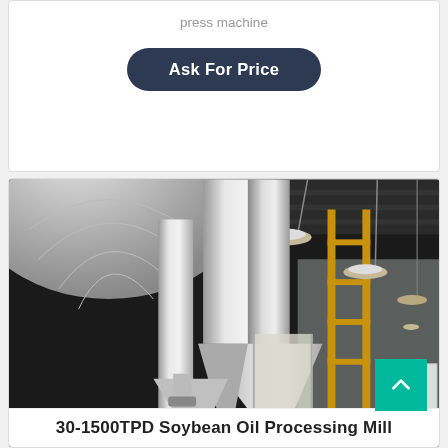press machine
Ask For Price
[Figure (photo): Industrial soybean oil processing mill interior showing large stainless steel conical tanks, pipes, and warehouse ceiling with hanging lights]
30-1500TPD Soybean Oil Processing Mill